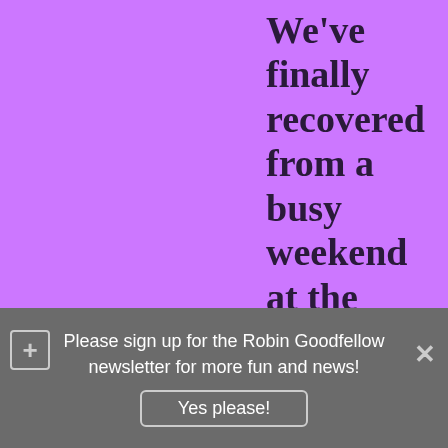We've finally recovered from a busy weekend at the Hospice du Rhone (and the following week, which was busy but not for wine-related reasons).
Instead of John, George, Ringo and Paul – you have Pierre, Francois, Yves and Yves
Please sign up for the Robin Goodfellow newsletter for more fun and news!